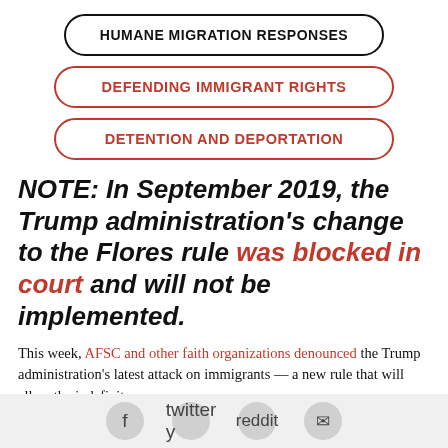HUMANE MIGRATION RESPONSES
DEFENDING IMMIGRANT RIGHTS
DETENTION AND DEPORTATION
NOTE: In September 2019, the Trump administration's change to the Flores rule was blocked in court and will not be implemented.
This week, AFSC and other faith organizations denounced the Trump administration's latest attack on immigrants — a new rule that will allow the indefinite...